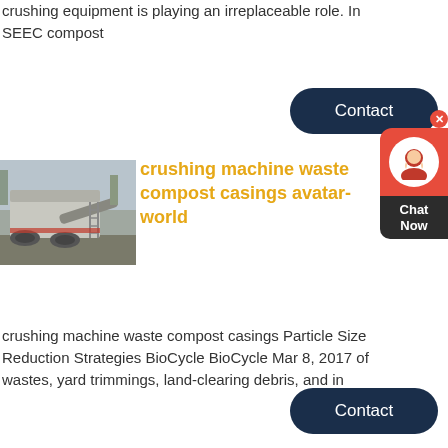crushing equipment is playing an irreplaceable role. In SEEC compost
[Figure (other): Contact button - dark navy blue rounded rectangle with white 'Contact' text]
[Figure (other): Chat widget with red close button, red icon box with person headset avatar, dark 'Chat Now' label]
[Figure (photo): Industrial crushing machine outdoors, grey machinery with conveyor belt, outdoor setting]
crushing machine waste compost casings avatar-world
crushing machine waste compost casings Particle Size Reduction Strategies BioCycle BioCycle Mar 8, 2017 of wastes, yard trimmings, land-clearing debris, and in
[Figure (other): Contact button - dark navy blue rounded rectangle with white 'Contact' text]